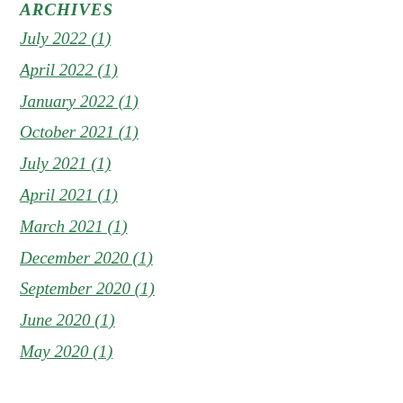ARCHIVES
July 2022 (1)
April 2022 (1)
January 2022 (1)
October 2021 (1)
July 2021 (1)
April 2021 (1)
March 2021 (1)
December 2020 (1)
September 2020 (1)
June 2020 (1)
May 2020 (1)